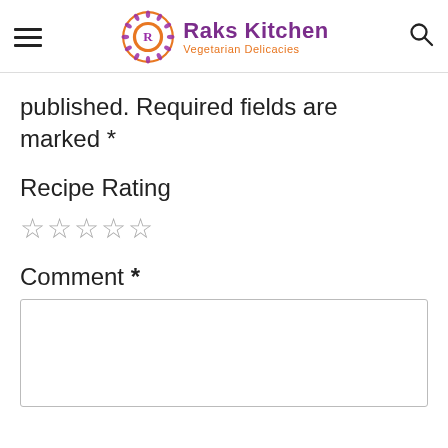Raks Kitchen — Vegetarian Delicacies
published. Required fields are marked *
Recipe Rating
☆☆☆☆☆
Comment *
(empty comment text area)